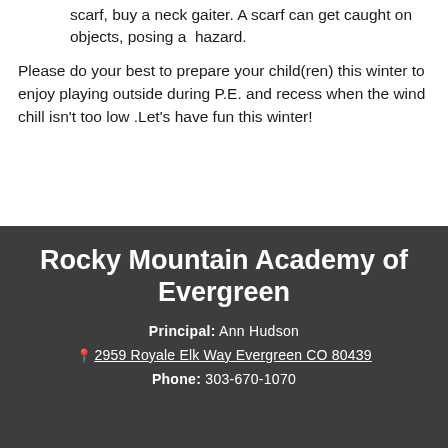scarf, buy a neck gaiter. A scarf can get caught on objects, posing a hazard.
Please do your best to prepare your child(ren) this winter to enjoy playing outside during P.E. and recess when the wind chill isn't too low .Let's have fun this winter!
Rocky Mountain Academy of Evergreen
Principal: Ann Hudson
2959 Royale Elk Way Evergreen CO 80439
Phone: 303-670-1070